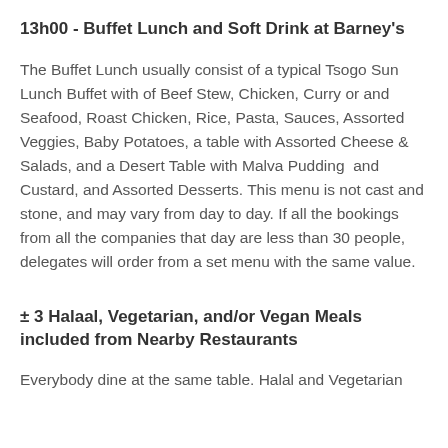13h00 - Buffet Lunch and Soft Drink at Barney's
The Buffet Lunch usually consist of a typical Tsogo Sun Lunch Buffet with of Beef Stew, Chicken, Curry or and Seafood, Roast Chicken, Rice, Pasta, Sauces, Assorted Veggies, Baby Potatoes, a table with Assorted Cheese & Salads, and a Desert Table with Malva Pudding  and Custard, and Assorted Desserts. This menu is not cast and stone, and may vary from day to day. If all the bookings from all the companies that day are less than 30 people, delegates will order from a set menu with the same value.
± 3 Halaal, Vegetarian, and/or Vegan Meals included from Nearby Restaurants
Everybody dine at the same table. Halal and Vegetarian